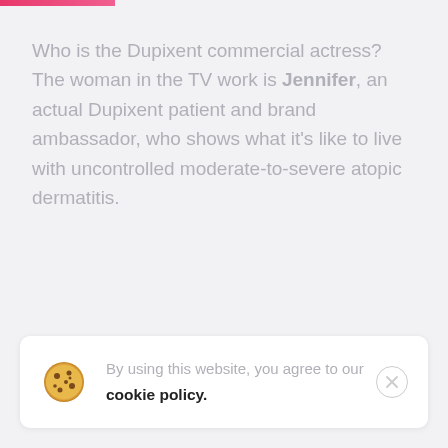Who is the Dupixent commercial actress? The woman in the TV work is Jennifer, an actual Dupixent patient and brand ambassador, who shows what it's like to live with uncontrolled moderate-to-severe atopic dermatitis.
By using this website, you agree to our cookie policy.